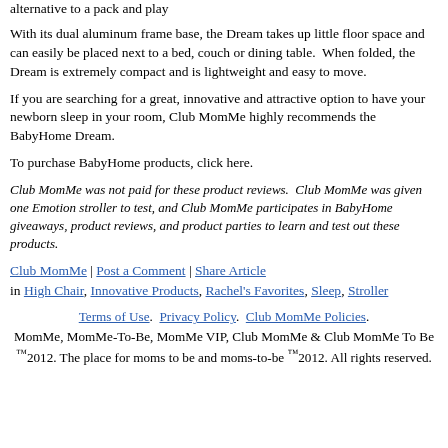alternative to a pack and play
With its dual aluminum frame base, the Dream takes up little floor space and can easily be placed next to a bed, couch or dining table.  When folded, the Dream is extremely compact and is lightweight and easy to move.
If you are searching for a great, innovative and attractive option to have your newborn sleep in your room, Club MomMe highly recommends the BabyHome Dream.
To purchase BabyHome products, click here.
Club MomMe was not paid for these product reviews.  Club MomMe was given one Emotion stroller to test, and Club MomMe participates in BabyHome giveaways, product reviews, and product parties to learn and test out these products.
Club MomMe | Post a Comment | Share Article in High Chair, Innovative Products, Rachel's Favorites, Sleep, Stroller
Terms of Use.  Privacy Policy.  Club MomMe Policies. MomMe, MomMe-To-Be, MomMe VIP, Club MomMe & Club MomMe To Be ™2012. The place for moms to be and moms-to-be ™2012. All rights reserved.